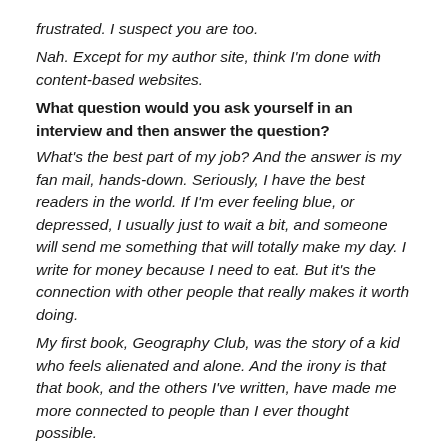frustrated. I suspect you are too.
Nah. Except for my author site, think I'm done with content-based websites.
What question would you ask yourself in an interview and then answer the question?
What's the best part of my job? And the answer is my fan mail, hands-down. Seriously, I have the best readers in the world. If I'm ever feeling blue, or depressed, I usually just to wait a bit, and someone will send me something that will totally make my day. I write for money because I need to eat. But it's the connection with other people that really makes it worth doing.
My first book, Geography Club, was the story of a kid who feels alienated and alone. And the irony is that that book, and the others I've written, have made me more connected to people than I ever thought possible.